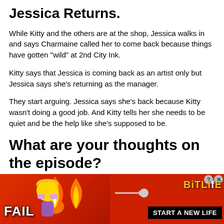Jessica Returns.
While Kitty and the others are at the shop, Jessica walks in and says Charmaine called her to come back because things have gotten “wild” at 2nd City Ink.
Kitty says that Jessica is coming back as an artist only but Jessica says she’s returning as the manager.
They start arguing. Jessica says she’s back because Kitty wasn’t doing a good job. And Kitty tells her she needs to be quiet and be the help like she’s supposed to be.
What are your thoughts on the episode?
[Figure (advertisement): BitLife mobile game advertisement banner with orange/red background, FAIL text, cartoon character, flame graphics, BitLife logo in yellow, and 'START A NEW LIFE' black bar]